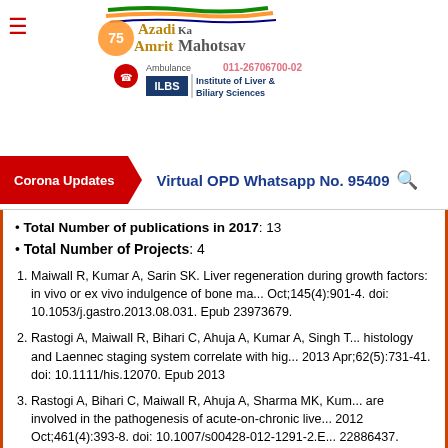[Figure (logo): Azadi Ka Amrit Mahotsav government logo with Indian flag colors and ILBS (Institute of Liver and Biliary Sciences) logo, ambulance number 011-26706700-02]
Corona Updates | Virtual OPD Whatsapp No. 9540...
Total Number of publications in 2017: 13
Total Number of Projects: 4
1. Maiwall R, Kumar A, Sarin SK. Liver regeneration during growth factors: in vivo or ex vivo indulgence of bone ma... Oct;145(4):901-4. doi: 10.1053/j.gastro.2013.08.031. Epub 23973679.
2. Rastogi A, Maiwall R, Bihari C, Ahuja A, Kumar A, Singh T... histology and Laennec staging system correlate with hig... 2013 Apr;62(5):731-41. doi: 10.1111/his.12070. Epub 2013
3. Rastogi A, Bihari C, Maiwall R, Ahuja A, Sharma MK, Kum... are involved in the pathogenesis of acute-on-chronic live... 2012 Oct;461(4):393-8. doi: 10.1007/s00428-012-1291-2.E... 22886437.